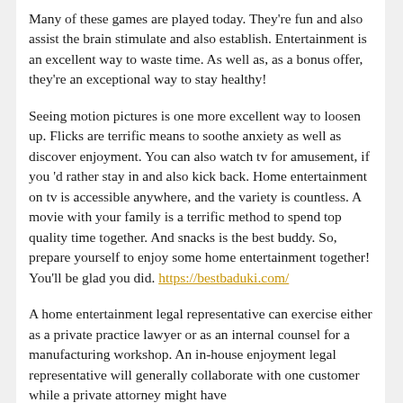Many of these games are played today. They're fun and also assist the brain stimulate and also establish. Entertainment is an excellent way to waste time. As well as, as a bonus offer, they're an exceptional way to stay healthy!
Seeing motion pictures is one more excellent way to loosen up. Flicks are terrific means to soothe anxiety as well as discover enjoyment. You can also watch tv for amusement, if you 'd rather stay in and also kick back. Home entertainment on tv is accessible anywhere, and the variety is countless. A movie with your family is a terrific method to spend top quality time together. And snacks is the best buddy. So, prepare yourself to enjoy some home entertainment together! You'll be glad you did. https://bestbaduki.com/
A home entertainment legal representative can exercise either as a private practice lawyer or as an internal counsel for a manufacturing workshop. An in-house enjoyment legal representative will generally collaborate with one customer while a private attorney might have